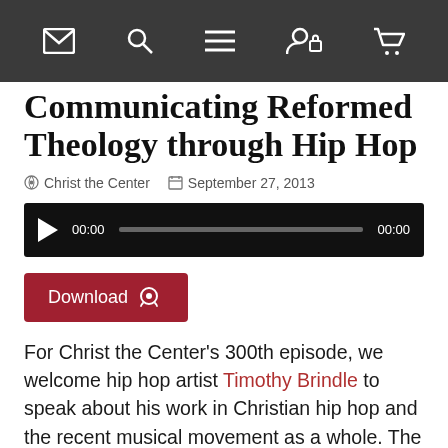[Navigation bar with icons: envelope, search, menu, account, cart]
Communicating Reformed Theology through Hip Hop
Christ the Center   September 27, 2013
[Figure (screenshot): Audio player bar with play button, 00:00 start time, progress bar, 00:00 end time on black background]
Download
For Christ the Center's 300th episode, we welcome hip hop artist Timothy Brindle to speak about his work in Christian hip hop and the recent musical movement as a whole. The episode explores hip hop's stylistic capability to communicate the gospel and reformed theology and includes clips from